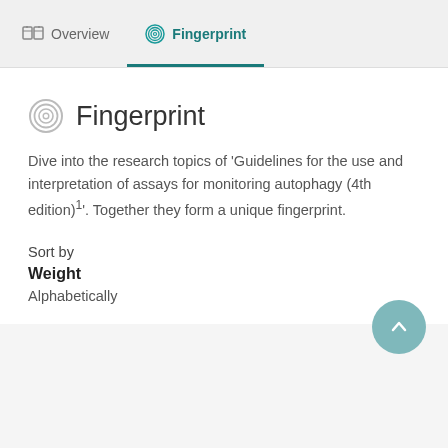Overview | Fingerprint
Fingerprint
Dive into the research topics of 'Guidelines for the use and interpretation of assays for monitoring autophagy (4th edition)'¹. Together they form a unique fingerprint.
Sort by
Weight
Alphabetically